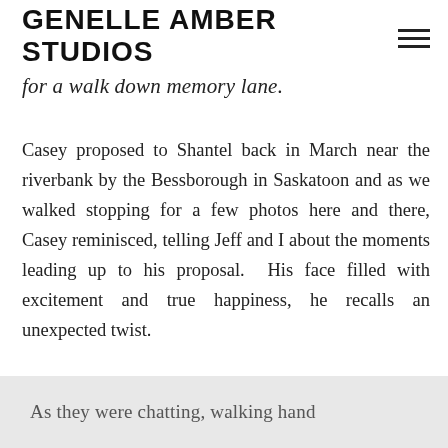GENELLE AMBER STUDIOS
for a walk down memory lane.
Casey proposed to Shantel back in March near the riverbank by the Bessborough in Saskatoon and as we walked stopping for a few photos here and there, Casey reminisced, telling Jeff and I about the moments leading up to his proposal. His face filled with excitement and true happiness, he recalls an unexpected twist.
As they were chatting, walking hand